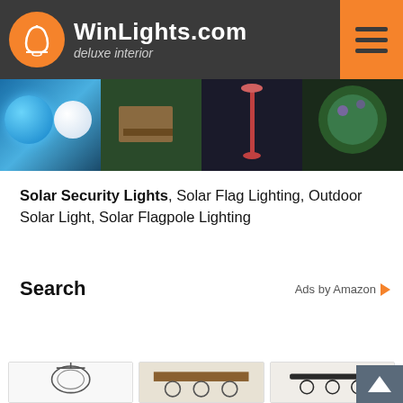WinLights.com deluxe interior
[Figure (photo): Horizontal strip of outdoor lighting product photos: blue and white paper lanterns, outdoor patio furniture with lighting, red floor lamp on patio, garden/tree with purple lighting]
Solar Security Lights, Solar Flag Lighting, Outdoor Solar Light, Solar Flagpole Lighting
Search
Ads by Amazon
[Figure (screenshot): Search Amazon text input box with Go button]
[Figure (photo): Three product thumbnail images: pendant chandelier light with drum shade, rustic wood bath vanity light bar, modern black 3-light vanity bar]